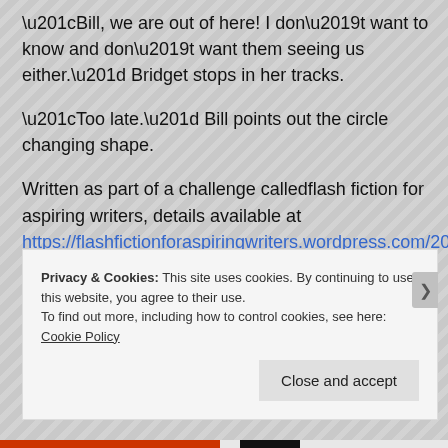“Bill, we are out of here! I don’t want to know and don’t want them seeing us either.” Bridget stops in her tracks.
“Too late.” Bill points out the circle changing shape.
Written as part of a challenge calledflash fiction for aspiring writers, details available at https://flashfictionforaspiringwriters.wordpress.com/2017/0 challenge-week-of-june-20-2017/
Privacy & Cookies: This site uses cookies. By continuing to use this website, you agree to their use.
To find out more, including how to control cookies, see here: Cookie Policy
Close and accept